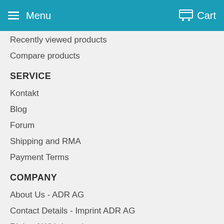Menu  Cart
Recently viewed products
Compare products
SERVICE
Kontakt
Blog
Forum
Shipping and RMA
Payment Terms
COMPANY
About Us - ADR AG
Contact Details - Imprint ADR AG
Right of Withdrawal
Privacy Policy